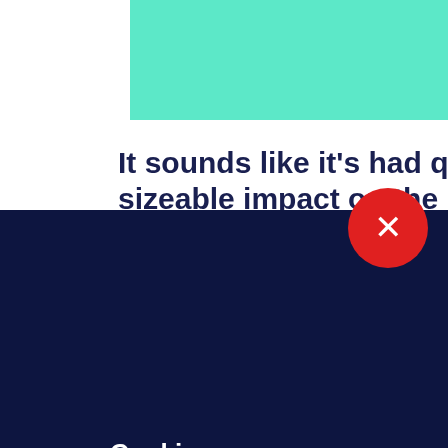[Figure (screenshot): Teal/mint colored rectangular banner image at top right of page]
It sounds like it's had quite a sizeable impact on the music yo
[Figure (infographic): Dark navy cookie consent overlay panel with red X close button circle]
Cookies
We use cookies to improve your experience on our website, assess how you use our website and for website security purposes. By continuing to navigate this website, we'll assume you agree to this. Read more about what cookies do and how to adjust your settings here.